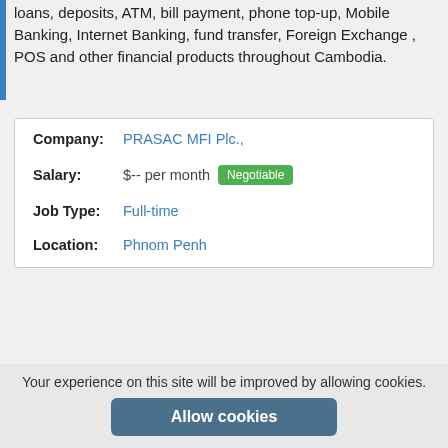loans, deposits, ATM, bill payment, phone top-up, Mobile Banking, Internet Banking, fund transfer, Foreign Exchange , POS and other financial products throughout Cambodia.
| Company: | PRASAC MFI Plc., |
| Salary: | $-- per month  Negotiable |
| Job Type: | Full-time |
| Location: | Phnom Penh |
More jobs by PRASAC MFI Plc.,
More jobs by Banker Jobs Asia
Save Job
Report abuse
Your experience on this site will be improved by allowing cookies.